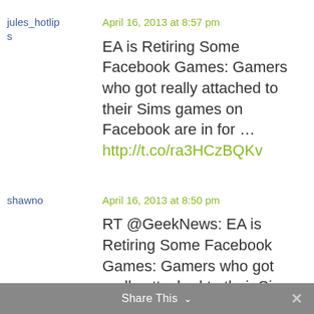jules_hotlips
April 16, 2013 at 8:57 pm
EA is Retiring Some Facebook Games: Gamers who got really attached to their Sims games on Facebook are in for … http://t.co/ra3HCzBQKv
shawno
April 16, 2013 at 8:50 pm
RT @GeekNews: EA is Retiring Some Facebook Games: Gamers who got really attached to their Sims games on Facebo… http://t.co/2YBPMMgQXE
Share This ×